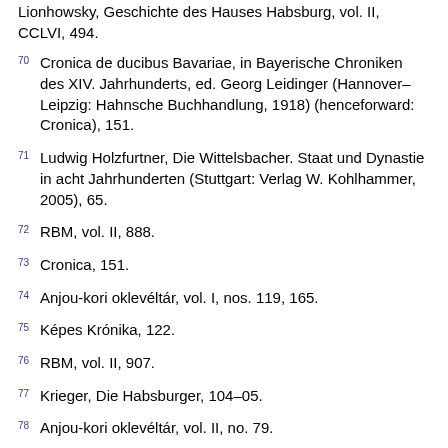Lionhowsky, Geschichte des Hauses Habsburg, vol. II, CCLVI, 494.
70 Cronica de ducibus Bavariae, in Bayerische Chroniken des XIV. Jahrhunderts, ed. Georg Leidinger (Hannover–Leipzig: Hahnsche Buchhandlung, 1918) (henceforward: Cronica), 151.
71 Ludwig Holzfurtner, Die Wittelsbacher. Staat und Dynastie in acht Jahrhunderten (Stuttgart: Verlag W. Kohlhammer, 2005), 65.
72 RBM, vol. II, 888.
73 Cronica, 151.
74 Anjou-kori oklevéltár, vol. I, nos. 119, 165.
75 Képes Krónika, 122.
76 RBM, vol. II, 907.
77 Krieger, Die Habsburger, 104–05.
78 Anjou-kori oklevéltár, vol. II, no. 79.